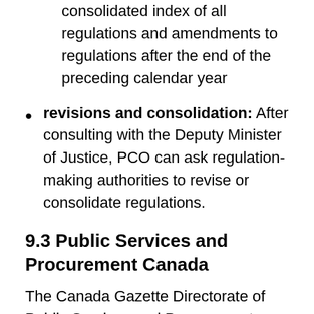consolidated index of all regulations and amendments to regulations after the end of the preceding calendar year
revisions and consolidation: After consulting with the Deputy Minister of Justice, PCO can ask regulation-making authorities to revise or consolidate regulations.
9.3 Public Services and Procurement Canada
The Canada Gazette Directorate of Public Services and Procurement Canada is responsible for publishing the Canada